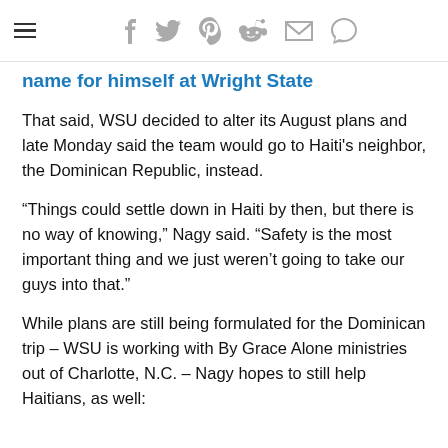≡  f  🐦  p  reddit  ✉  💬
name for himself at Wright State
That said, WSU decided to alter its August plans and late Monday said the team would go to Haiti's neighbor, the Dominican Republic, instead.
“Things could settle down in Haiti by then, but there is no way of knowing,” Nagy said. “Safety is the most important thing and we just weren’t going to take our guys into that.”
While plans are still being formulated for the Dominican trip – WSU is working with By Grace Alone ministries out of Charlotte, N.C. – Nagy hopes to still help Haitians, as well: